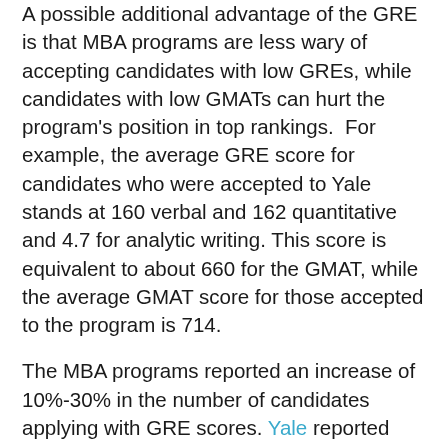A possible additional advantage of the GRE is that MBA programs are less wary of accepting candidates with low GREs, while candidates with low GMATs can hurt the program's position in top rankings. For example, the average GRE score for candidates who were accepted to Yale stands at 160 verbal and 162 quantitative and 4.7 for analytic writing. This score is equivalent to about 660 for the GMAT, while the average GMAT score for those accepted to the program is 714.
The MBA programs reported an increase of 10%-30% in the number of candidates applying with GRE scores. Yale reported that 21% of last year's MBA candidates applied with GRE scores as opposed to 18% two years ago, while at Columbia 5% applied with GRE scores as opposed to 2% the previous year. Incidentally, the most significant increase was recorded in India, where the number of GRE test-takers in 2013 grew by 68% since 2012, while the U.S. showed an increase of 5.3% alone.
But U.S. Exchange (and abroad there are some)